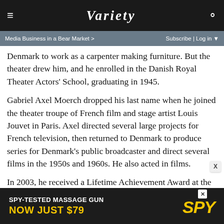VARIETY
Media Business in a Bear Market > Subscribe | Log in
Denmark to work as a carpenter making furniture. But the theater drew him, and he enrolled in the Danish Royal Theater Actors' School, graduating in 1945.
Gabriel Axel Moerch dropped his last name when he joined the theater troupe of French film and stage artist Louis Jouvet in Paris. Axel directed several large projects for French television, then returned to Denmark to produce series for Denmark's public broadcaster and direct several films in the 1950s and 1960s. He also acted in films.
In 2003, he received a Lifetime Achievement Award at the Copenhagen International Film Festival.
Axel's wife of nearly 50 years, Lucie Axel Moerch, died in 196
[Figure (screenshot): Advertisement banner: SPY-TESTED MASSAGE GUN NOW JUST $79 with SPY logo in yellow on dark background]